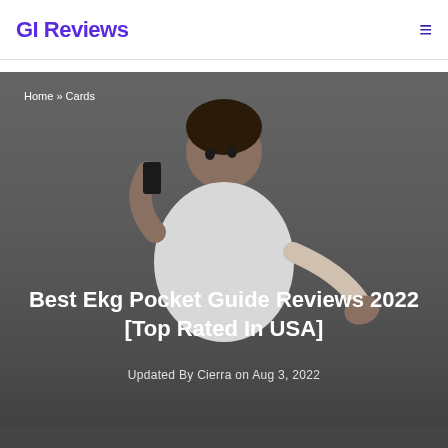GI Reviews
Home » Cards
[Figure (photo): Man in white t-shirt talking on a phone against a gray background, used as hero image for the article]
Best Ekg Pocket Guide Reviews 2022 [Top Rated In USA]
Updated By Cierra on Aug 3, 2022